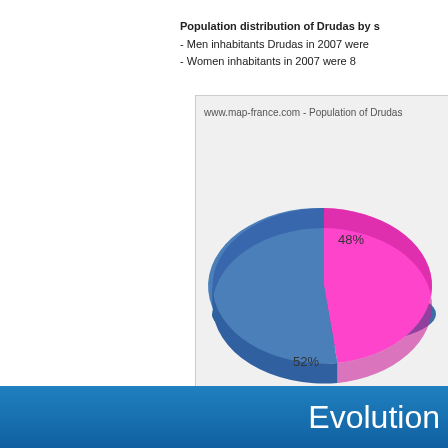Population distribution of Drudas by s - Men inhabitants Drudas in 2007 were - Women inhabitants in 2007 were 8
[Figure (pie-chart): www.map-france.com - Population of Drudas]
Evolution